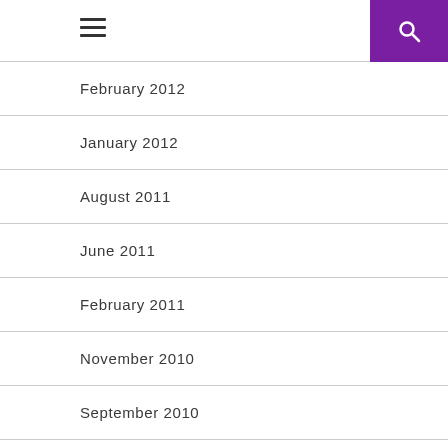Navigation header with hamburger menu and search icon
February 2012
January 2012
August 2011
June 2011
February 2011
November 2010
September 2010